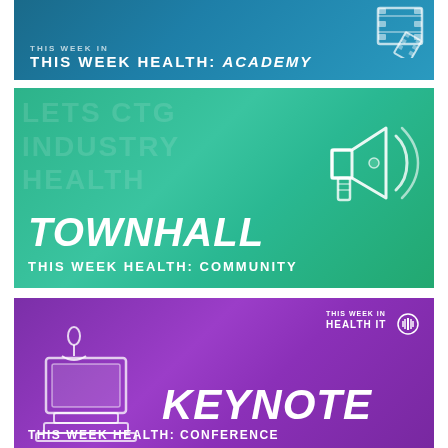[Figure (illustration): This Week Health: Academy banner with teal/blue gradient background, film strip icon top right, bold white text]
[Figure (illustration): Townhall - This Week Health: Community banner with green gradient background, megaphone icon, watermark text, bold italic white TOWNHALL title]
[Figure (illustration): Keynote - This Week Health: Conference banner with purple gradient background, podium illustration, logo badge top right, bold italic white KEYNOTE title]